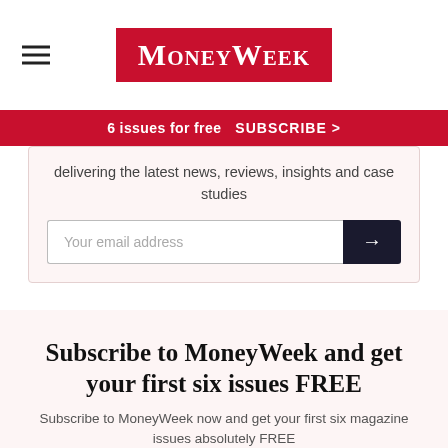MoneyWeek
6 issues for free   SUBSCRIBE >
delivering the latest news, reviews, insights and case studies
Your email address
Subscribe to MoneyWeek and get your first six issues FREE
Subscribe to MoneyWeek now and get your first six magazine issues absolutely FREE